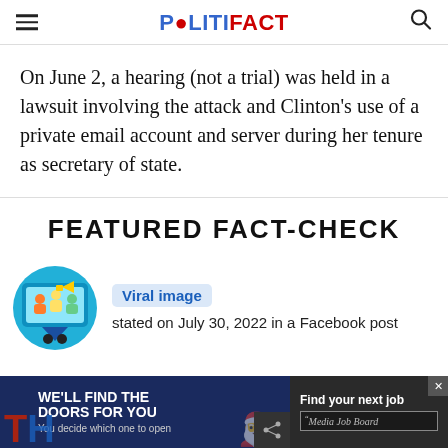POLITIFACT
On June 2, a hearing (not a trial) was held in a lawsuit involving the attack and Clinton's use of a private email account and server during her tenure as secretary of state.
FEATURED FACT-CHECK
[Figure (illustration): Circular icon with cartoon figures and a megaphone/social media graphic, with quote marks below]
Viral image stated on July 30, 2022 in a Facebook post
[Figure (infographic): Advertisement banner: 'WE'LL FIND THE DOORS FOR YOU - You decide which one to open' with Media Job Board logo]